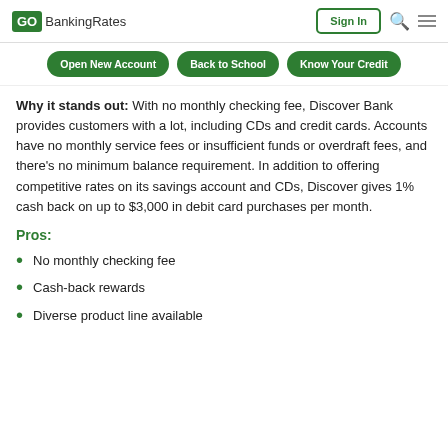GOBankingRates | Sign In
Open New Account | Back to School | Know Your Credit
Why it stands out: With no monthly checking fee, Discover Bank provides customers with a lot, including CDs and credit cards. Accounts have no monthly service fees or insufficient funds or overdraft fees, and there's no minimum balance requirement. In addition to offering competitive rates on its savings account and CDs, Discover gives 1% cash back on up to $3,000 in debit card purchases per month.
Pros:
No monthly checking fee
Cash-back rewards
Diverse product line available